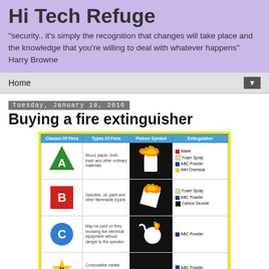Hi Tech Refuge
"security.. it's simply the recognition that changes will take place and the knowledge that you're willing to deal with whatever happens" Harry Browne
Home
Tuesday, January 19, 2016
Buying a fire extinguisher
[Figure (table-as-image): Fire extinguisher classes table showing Classes A, B, C, D with types of fires, picture symbols, and extinguisher types]